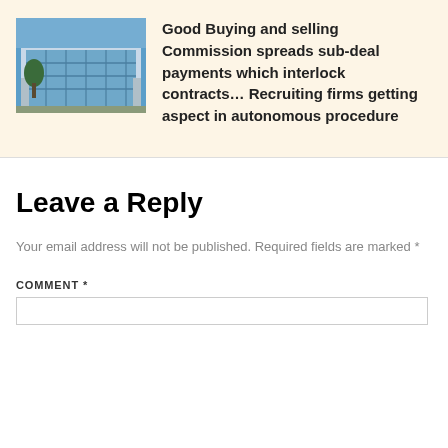[Figure (photo): Photo of a modern glass building exterior with blue sky]
Good Buying and selling Commission spreads sub-deal payments which interlock contracts… Recruiting firms getting aspect in autonomous procedure
Leave a Reply
Your email address will not be published. Required fields are marked *
COMMENT *